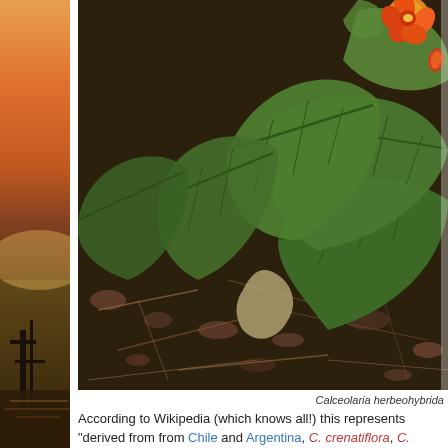[Figure (photo): Left side decorative strip showing a sunset/landscape scene with warm orange tones and a silhouette of a structure]
[Figure (photo): Close-up photograph of Calceolaria herbeohybrida plant showing large green leaves with visible veins, growing in dark soil and mulch with pine needles. A yellow-red flower bud is visible in the upper right corner.]
Calceolaria herbeohybrida
According to Wikipedia (which knows all!) this represents "derived from from Chile and Argentina, C. crenatiflora, C. corymbosa and C. cana not? Is it too much to hope?